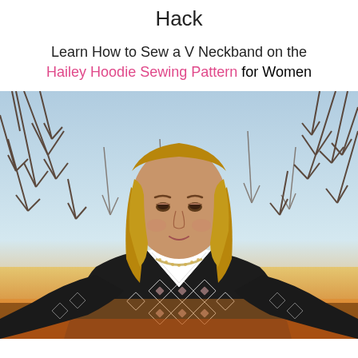Hack
Learn How to Sew a V Neckband on the Hailey Hoodie Sewing Pattern for Women
[Figure (photo): A young woman with long blonde hair wearing a black and white patterned hoodie with a V neckband, standing outdoors in front of bare trees with a sunset behind her.]